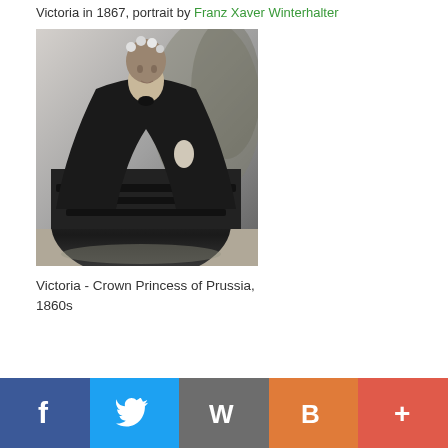Victoria in 1867, portrait by Franz Xaver Winterhalter
[Figure (photo): Black and white portrait photograph of Victoria, Crown Princess of Prussia, in 1860s dress — a large dark crinoline gown with lace trim layers and a cape, with floral headpiece, standing in a studio setting with painted backdrop.]
Victoria - Crown Princess of Prussia, 1860s
f  [Twitter bird]  [WordPress W]  [Blogger B]  +